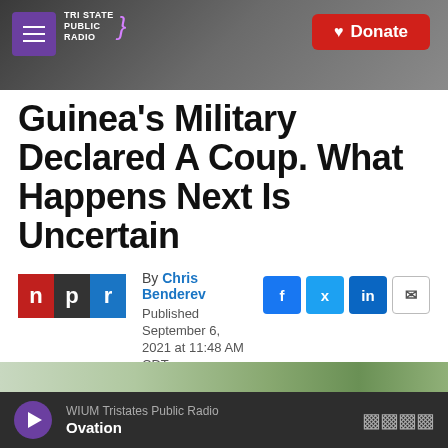Tri States Public Radio — Donate
Guinea's Military Declared A Coup. What Happens Next Is Uncertain
By Chris Benderev
Published September 6, 2021 at 11:48 AM CDT
[Figure (photo): Outdoor photo showing trees and street scene]
WIUM Tristates Public Radio — Ovation